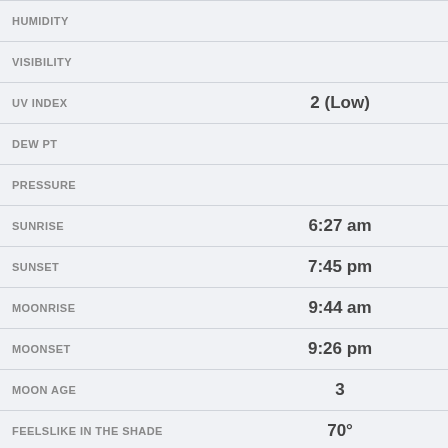| Attribute | Value |
| --- | --- |
| HUMIDITY |  |
| VISIBILITY |  |
| UV INDEX | 2 (Low) |
| DEW PT |  |
| PRESSURE |  |
| SUNRISE | 6:27 am |
| SUNSET | 7:45 pm |
| MOONRISE | 9:44 am |
| MOONSET | 9:26 pm |
| MOON AGE | 3 |
| FEELSLIKE IN THE SHADE | 70° |
| PRECIPITATION PROBABILITY | 00% |